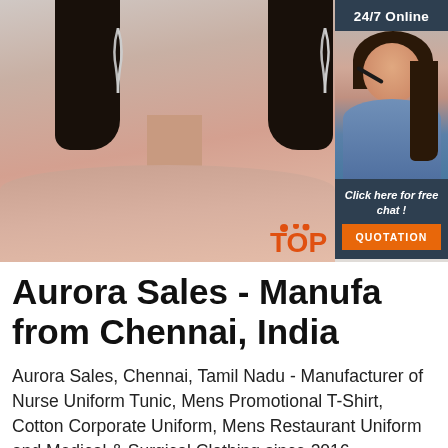[Figure (photo): Fashion model photo showing face, neck and shoulders with silver earrings, cropped. A 24/7 online chat widget is overlaid on the right side showing a customer service agent with headset, 'Click here for free chat!' text and an orange QUOTATION button.]
Aurora Sales - Manufacturer from Chennai, India
Aurora Sales, Chennai, Tamil Nadu - Manufacturer of Nurse Uniform Tunic, Mens Promotional T-Shirt, Cotton Corporate Uniform, Mens Restaurant Uniform and Medical & Surgical Clothing since 2016